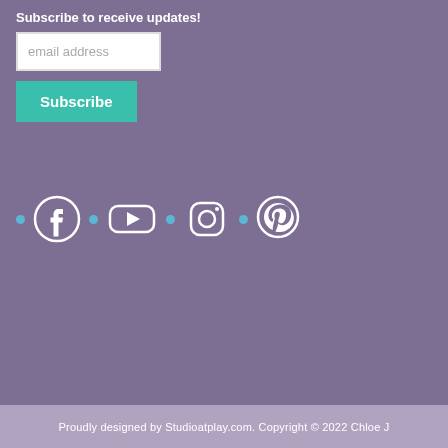Subscribe to receive updates!
[Figure (screenshot): Email address input field (white rectangle with placeholder text 'email address')]
[Figure (screenshot): Teal 'Subscribe' button]
[Figure (infographic): Social media icons row: Facebook, YouTube, Instagram, Pinterest with teal dots separating them]
Proudly designed by Studioatplay.com. Copyright © 2022 Chloe J